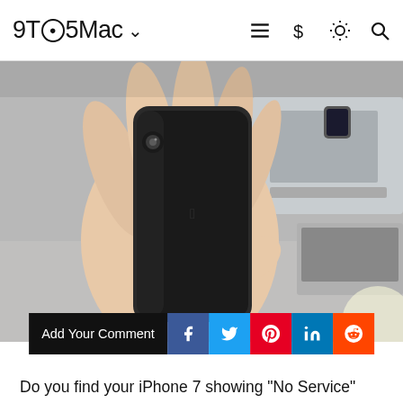9TO5Mac
[Figure (photo): A hand holding an iPhone 7 face-down showing its back, in a repair shop or electronics store setting with laptops and equipment in the background.]
Add Your Comment
Do you find your iPhone 7 showing "No Service" even when others around you aren't having any trouble? Read on for how to check if your iPhone 7 is eligible for Apple's "No Service" issues repair program.